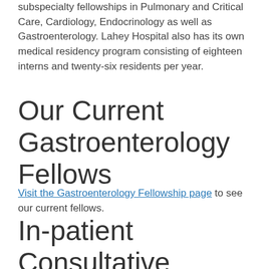subspecialty fellowships in Pulmonary and Critical Care, Cardiology, Endocrinology as well as Gastroenterology. Lahey Hospital also has its own medical residency program consisting of eighteen interns and twenty-six residents per year.
Our Current Gastroenterology Fellows
Visit the Gastroenterology Fellowship page to see our current fellows.
In-patient Consultative Service